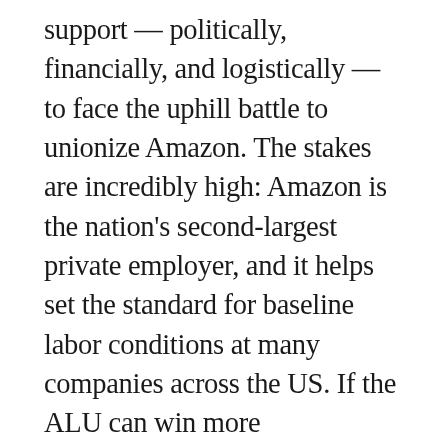support — politically, financially, and logistically — to face the uphill battle to unionize Amazon. The stakes are incredibly high: Amazon is the nation's second-largest private employer, and it helps set the standard for baseline labor conditions at many companies across the US. If the ALU can win more warehouses, it could propel a growing class of workers who are forming unions — not just at Amazon, but at other major employers like Starbucks, Apple, and Dollar General — to demand a better quality of life from their employers. Whether or not the ALU succeeds will depend on whether Smalls and his team can effectively scale their grassroots organizing efforts on a national level, and if they can withstand Amazon, which spent $4.3 million in anti-union consulting last year alone and is expected to continue pouring in